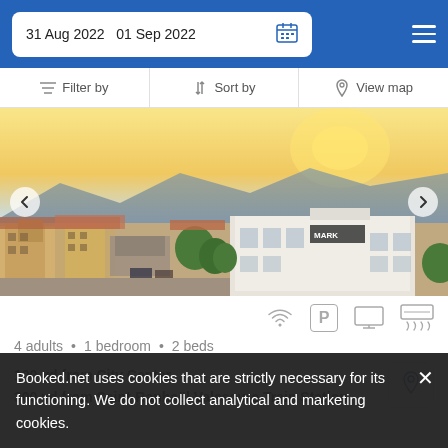31 Aug 2022  01 Sep 2022
Filter by  |  Sort by  |  View map
[Figure (photo): Aerial/rooftop view of a Mediterranean city (Saint-Raphaël, France) at sunset, showing terracotta rooftops, a white building with a sign, green trees, and mountains in the background under a golden sky.]
4 adults • 1 bedroom • 2 beds
100 yd from City Center
300 yd from Saint-Raphaël Valescure Train Station
Booked.net uses cookies that are strictly necessary for its functioning. We do not collect analytical and marketing cookies.